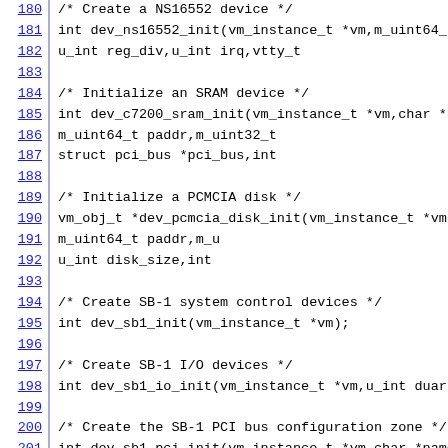180  /* Create a NS16552 device */
181  int dev_ns16552_init(vm_instance_t *vm,m_uint64_t p
182                        u_int reg_div,u_int irq,vtty_t
183
184  /* Initialize an SRAM device */
185  int dev_c7200_sram_init(vm_instance_t *vm,char *nam
186                        m_uint64_t paddr,m_uint32_t
187                        struct pci_bus *pci_bus,int
188
189  /* Initialize a PCMCIA disk */
190  vm_obj_t *dev_pcmcia_disk_init(vm_instance_t *vm,ch
191                                m_uint64_t paddr,m_u
192                                u_int disk_size,int
193
194  /* Create SB-1 system control devices */
195  int dev_sb1_init(vm_instance_t *vm);
196
197  /* Create SB-1 I/O devices */
198  int dev_sb1_io_init(vm_instance_t *vm,u_int duart_i
199
200  /* Create the SB-1 PCI bus configuration zone */
201  int dev_sb1_pci_init(vm_instance_t *vm,char *name,m